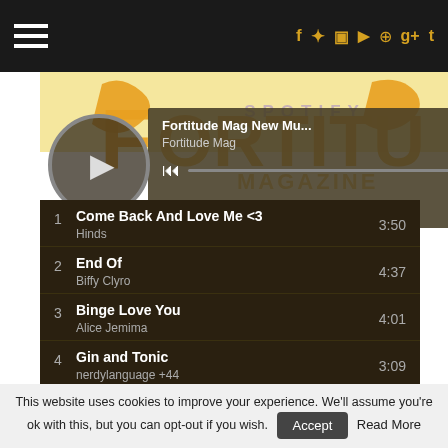Fortitude Magazine - navigation bar with social icons
[Figure (screenshot): Spotify embedded player showing Fortitude Mag New Mu... playlist by Fortitude Mag, with play button, progress bar, skip and share controls]
1  Come Back And Love Me <3  3:50  Hinds
2  End Of  4:37  Biffy Clyro
3  Binge Love You  4:01  Alice Jemima
4  Gin and Tonic  3:09  nerdylanguage +44
This website uses cookies to improve your experience. We'll assume you're ok with this, but you can opt-out if you wish.  Accept  Read More